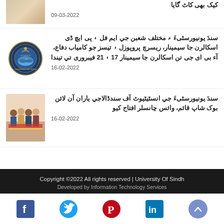[Figure (photo): Partial view of people in traditional clothing at top of page]
کیک بھی کاٹ گایا
09-03-2022
[Figure (logo): University of Sindh circular logo/crest]
سندَ یونیورسٹیءَ ۾ مختلف شعبن جي ایم فل ۽ پی ایچ ڈی اسکالرن جا سیمینار، ریسرچ پروپوزل ۽ تیسز جو کامیاب دفاع، آء بی ای جی تن اسکالرن جا سیمینار 17 ۽ 21 فیبروری تي تيندا
16-02-2022
[Figure (photo): Group of people at an event, possibly inauguration ceremony]
سندَ یونیورسٹیءَ جي انسٹیٹیوٹ آف سندڈالاجي یاران آن لائن بوک شاپ قائم، وائس چانسلر افتاح کیو
16-02-2022
Copyright ©2022 All rights reserved | University Of Sindh
Developed by Information Technology Services